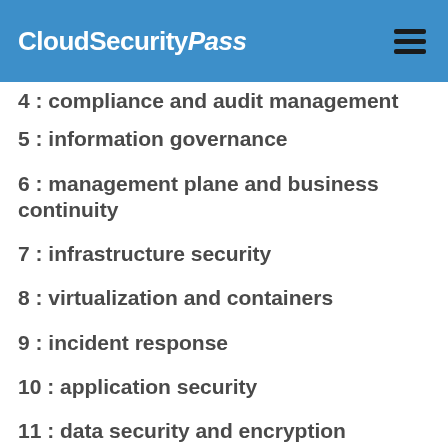CloudSecurityPass
4 : compliance and audit management
5 : information governance
6 : management plane and business continuity
7 : infrastructure security
8 : virtualization and containers
9 : incident response
10 : application security
11 : data security and encryption